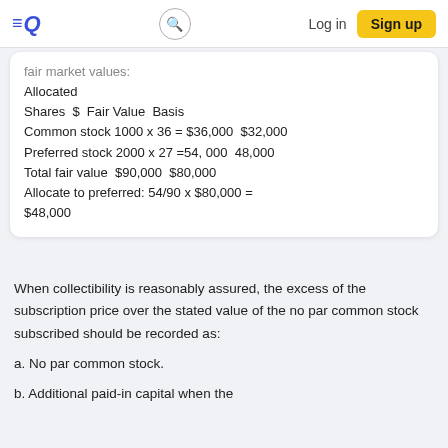EQ  [search]  Log in  Sign up
fair market values:
Allocated
Shares $ Fair Value Basis
Common stock 1000 x 36 = $36,000 $32,000
Preferred stock 2000 x 27 =54, 000 48,000
Total fair value $90,000 $80,000
Allocate to preferred: 54/90 x $80,000 = $48,000
When collectibility is reasonably assured, the excess of the subscription price over the stated value of the no par common stock subscribed should be recorded as:
a. No par common stock.
b. Additional paid-in capital when the